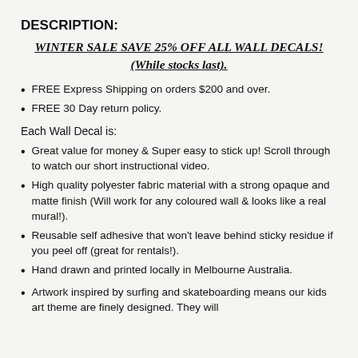DESCRIPTION:
WINTER SALE SAVE 25% OFF ALL WALL DECALS! (While stocks last).
FREE Express Shipping on orders $200 and over.
FREE 30 Day return policy.
Each Wall Decal is:
Great value for money & Super easy to stick up! Scroll through to watch our short instructional video.
High quality polyester fabric material with a strong opaque and matte finish (Will work for any coloured wall & looks like a real mural!).
Reusable self adhesive that won't leave behind sticky residue if you peel off (great for rentals!).
Hand drawn and printed locally in Melbourne Australia.
Artwork inspired by surfing and skateboarding means our kids art theme are finely designed. They will